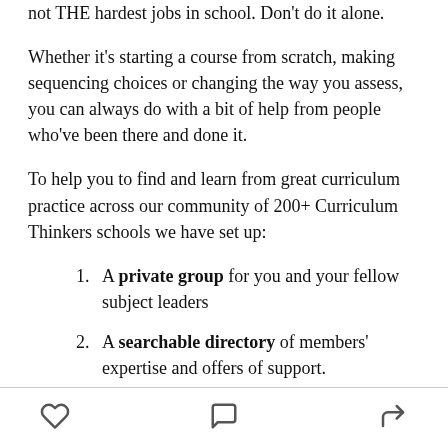not THE hardest jobs in school. Don't do it alone.
Whether it's starting a course from scratch, making sequencing choices or changing the way you assess, you can always do with a bit of help from people who've been there and done it.
To help you to find and learn from great curriculum practice across our community of 200+ Curriculum Thinkers schools we have set up:
A private group for you and your fellow subject leaders
A searchable directory of members' expertise and offers of support.
[heart icon] [comment icon] [share icon]